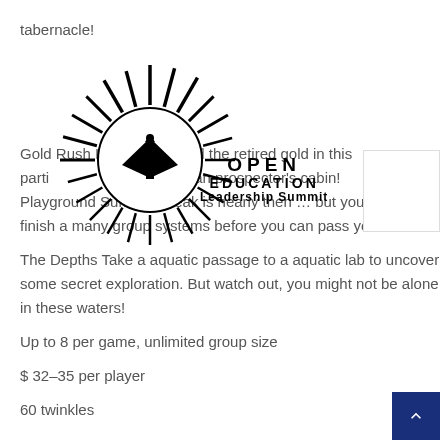tabernacle!
[Figure (logo): Open Education Leadership Summit logo — circular sunburst/radiant lines pattern with a graduation cap icon in the center. Text reads OPEN EDUCATION Leadership Summit in bold letters.]
Gold Rush It's a race to find the retired gold in this particular Californian prospector's cabin!
Playground Summer break is nearly then … but you 'll need to finish a many group systems before you can pass your class!
The Depths Take a aquatic passage to a aquatic lab to uncover some secret exploration. But watch out, you might not be alone in these waters!
Up to 8 per game, unlimited group size
$ 32–35 per player
60 twinkles